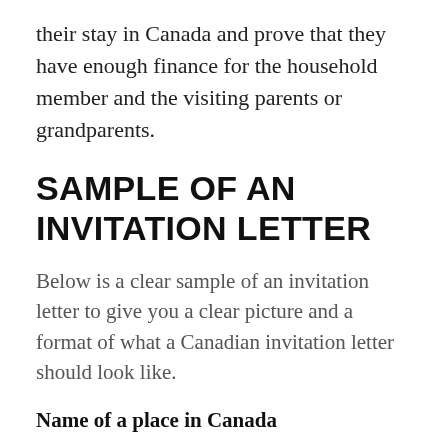their stay in Canada and prove that they have enough finance for the household member and the visiting parents or grandparents.
SAMPLE OF AN INVITATION LETTER
Below is a clear sample of an invitation letter to give you a clear picture and a format of what a Canadian invitation letter should look like.
Name of a place in Canada
To the Canadian embassy in (state the country)
Embassy address